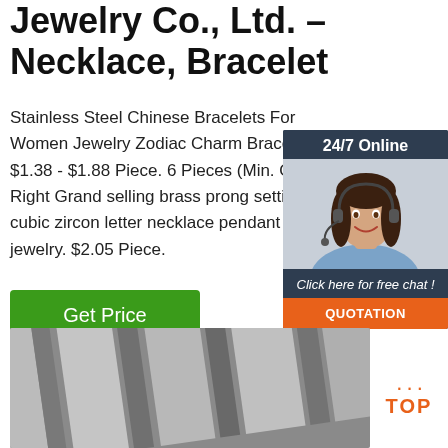Jewelry Co., Ltd. – Necklace, Bracelet
Stainless Steel Chinese Bracelets For Women Jewelry Zodiac Charm Bracelets. $1.38 - $1.88 Piece. 6 Pieces (Min. Order) Right Grand selling brass prong setting cubic zircon letter necklace pendant fashion jewelry. $2.05 Piece.
[Figure (other): Green 'Get Price' button]
[Figure (other): 24/7 Online chat widget with customer service representative photo, 'Click here for free chat!' text, and orange QUOTATION button]
[Figure (photo): Gray metallic stripes/sheets close-up photo (stainless steel material)]
[Figure (logo): Orange TOP badge/logo in bottom right corner]